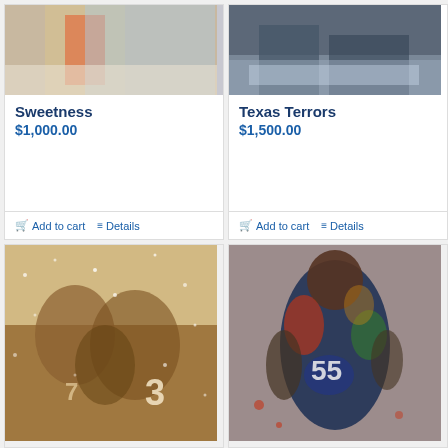[Figure (photo): Partial image of a football player in a blue jersey (Sweetness product)]
Sweetness
$1,000.00
Add to cart
Details
[Figure (photo): Partial image of baseball/football players in dark uniforms (Texas Terrors product)]
Texas Terrors
$1,500.00
Add to cart
Details
[Figure (photo): Sepia-toned painting of football players in snow, featuring number 3 jersey]
[Figure (photo): Colorful painting of a football player in dark jersey with number 55, crouching in a dynamic pose]